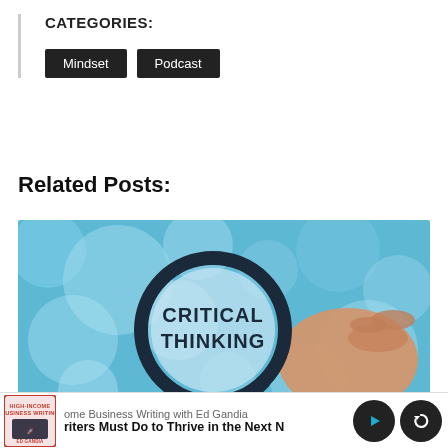CATEGORIES:
Mindset
Podcast
Related Posts:
[Figure (photo): A hand holding a magnifying glass with the text 'CRITICAL THINKING' visible through the lens, set against a blue bokeh background.]
High-Income Business Writing with Ed Gandia — Writers Must Do to Thrive in the Next [decade]